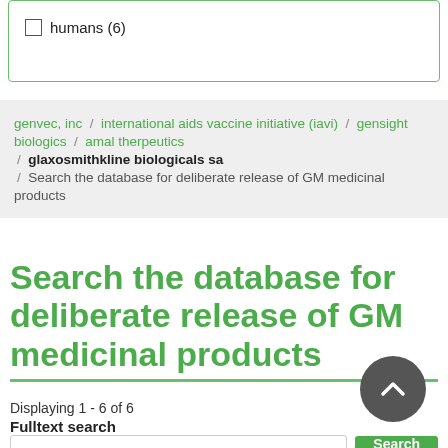humans (6)
genvec, inc / international aids vaccine initiative (iavi) / gensight biologics / amal therpeutics / glaxosmithkline biologicals sa / Search the database for deliberate release of GM medicinal products
Search the database for deliberate release of GM medicinal products
Displaying 1 - 6 of 6
Fulltext search